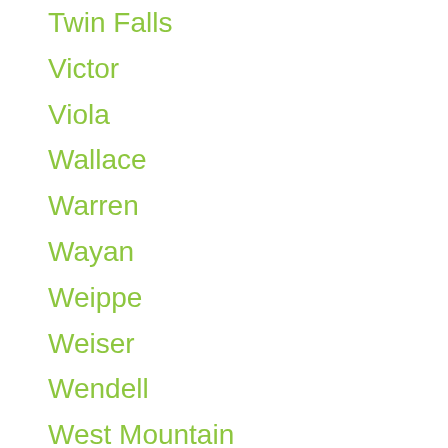Twin Falls
Victor
Viola
Wallace
Warren
Wayan
Weippe
Weiser
Wendell
West Mountain
Weston
White Bird
Wilder
Winchester
Worley
Yellow Pine